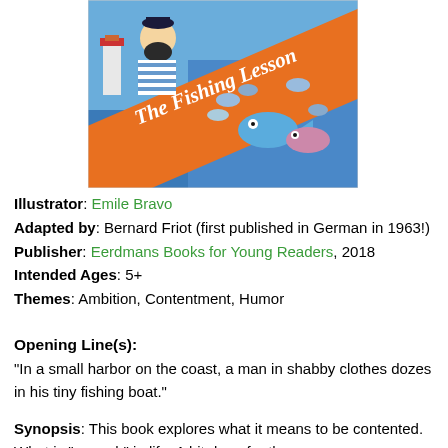[Figure (illustration): Book cover of 'The Fishing Lesson' showing a sailor/fisherman with a beard in a striped shirt, a lighthouse in the background, and many fish. A diagonal orange banner displays the title in italic white text.]
Illustrator: Emile Bravo
Adapted by: Bernard Friot (first published in German in 1963!)
Publisher: Eerdmans Books for Young Readers, 2018
Intended Ages: 5+
Themes: Ambition, Contentment, Humor
Opening Line(s):
"In a small harbor on the coast, a man in shabby clothes dozes in his tiny fishing boat."
Synopsis: This book explores what it means to be contented. What is "enough" in life. A bit deep for the